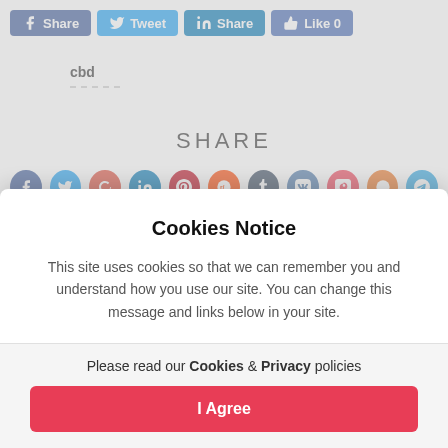[Figure (screenshot): Social share buttons row: Facebook Share, Twitter Tweet, LinkedIn Share, Like 0]
cbd
SHARE
[Figure (screenshot): Row of social media icon circles: Facebook, Twitter, Google+, LinkedIn, Pinterest, Reddit, Tumblr, VK, Pocket, StumbleUpon, Telegram]
Cookies Notice
This site uses cookies so that we can remember you and understand how you use our site. You can change this message and links below in your site.
Please read our Cookies & Privacy policies
I Agree